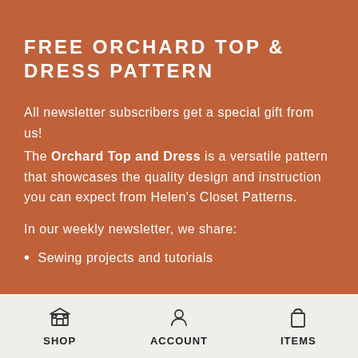FREE ORCHARD TOP & DRESS PATTERN
All newsletter subscribers get a special gift from us! The Orchard Top and Dress is a versatile pattern that showcases the quality design and instruction you can expect from Helen's Closet Patterns.
In our weekly newsletter, we share:
Sewing projects and tutorials
SHOP  ACCOUNT  ITEMS